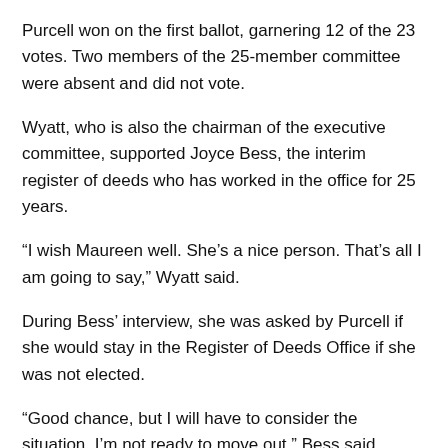Purcell won on the first ballot, garnering 12 of the 23 votes. Two members of the 25-member committee were absent and did not vote.
Wyatt, who is also the chairman of the executive committee, supported Joyce Bess, the interim register of deeds who has worked in the office for 25 years.
“I wish Maureen well. She’s a nice person. That’s all I am going to say,” Wyatt said.
During Bess’ interview, she was asked by Purcell if she would stay in the Register of Deeds Office if she was not elected.
“Good chance, but I will have to consider the situation. I’m not ready to move out,” Bess said.
Purcell said, in an interview, that she wants Bess to stay